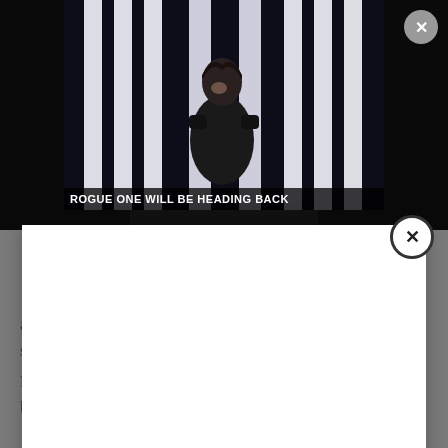[Figure (screenshot): Movie screenshot showing a woman in dark armor/costume standing in front of bright vertical light panels, with overlaid white bold text reading 'ROGUE ONE WILL BE HEADING BACK' at the bottom of the frame. A gray circular close/X button is in the top right corner of the image area.]
[Figure (screenshot): A large white modal/popup overlay covering most of the page, with a circular close button (X) with a white background and dark border on its upper right edge.]
as she questions and tries to make sense of a crime that seems nonsensical and avoidable all at once.
Deakins' photography of the frigid Minnesota landscape is both